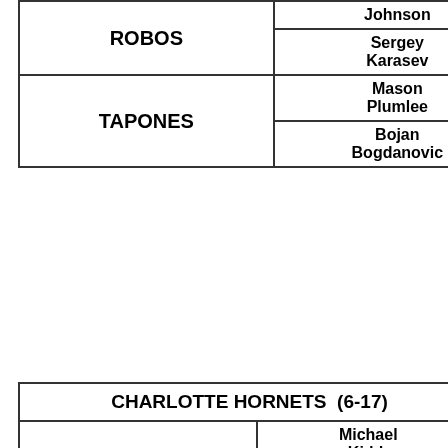| Category | Player | Value |
| --- | --- | --- |
| ROBOS | Johnson |  |
| ROBOS | Sergey Karasev | 1 |
| TAPONES | Mason Plumlee | 1 |
| TAPONES | Bojan Bogdanovic | 1 |
| CHARLOTTE HORNETS (6-17) |  | 87 |
| --- | --- | --- |
| PUNTOS | Michael Kidd-Gilchrist | 15 |
| PUNTOS | Brian Roberts | 14 |
| REBOTES | Bismack Biyombo | 10 |
| REBOTES | Al Jefferson | 5 |
|  | Kemba | 4 |